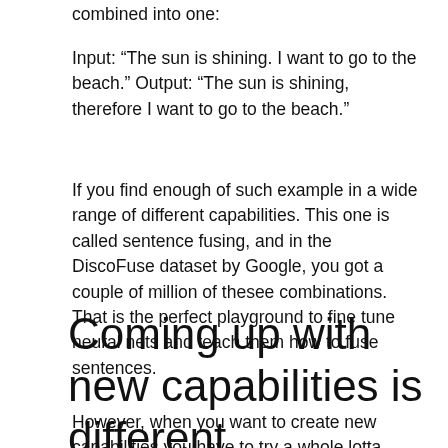combined into one:
Input: “The sun is shining. I want to go to the beach.” Output: “The sun is shining, therefore I want to go to the beach.”
If you find enough of such example in a wide range of different capabilities. This one is called sentence fusing, and in the DiscoFuse dataset by Google, you got a couple of million of thesee combinations. That is the perfect playground to fine tune neural nets and teach them how to fuse sentences.
Coming up with new capabilities is different
However, when you want to create new capabilities you have to try a whole lotta